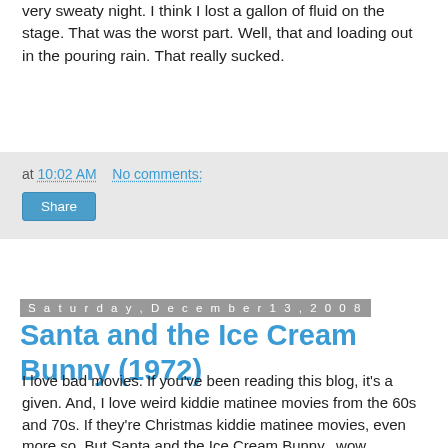very sweaty night. I think I lost a gallon of fluid on the stage. That was the worst part. Well, that and loading out in the pouring rain. That really sucked.
at 10:02 AM   No comments:
Share
Saturday, December 13, 2008
Santa and the Ice Cream Bunny (1972)
I love bad movies. If you've been reading this blog, it's a given. And, I love weird kiddie matinee movies from the 60s and 70s. If they're Christmas kiddie matinee movies, even more so. But Santa and the Ice Cream Bunny...wow.
I'm going to start out by saying, this is easily the worst Christmas film I've ever seen. Really, calling it a Christmas film at all is stretching it, as I'll explain later, but for now let's just leave it at that. It's also probably the worst kid's film I've ever seen as well. (Yes, it's even worse than The Magic Land